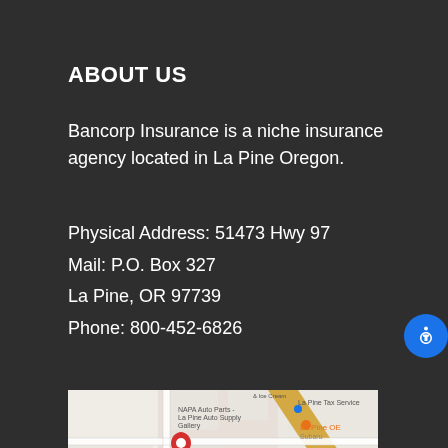ABOUT US
Bancorp Insurance is a niche insurance agency located in La Pine Oregon.
Physical Address: 51473 Hwy 97
Mail: P.O. Box 327
La Pine, OR 97739
Phone: 800-452-6826
[Figure (map): Google Maps screenshot showing the location of Bancorp Insurance at 51473 Hwy 97, La Pine, OR 97739, with a red location pin marker and surrounding streets and businesses visible.]